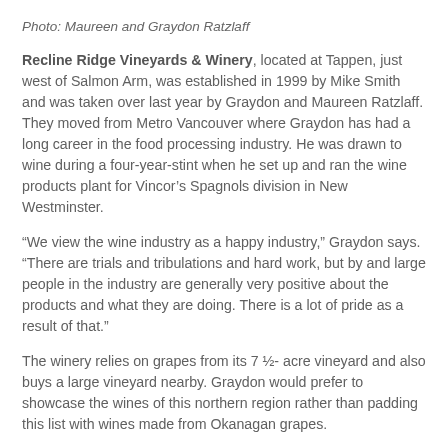Photo: Maureen and Graydon Ratzlaff
Recline Ridge Vineyards & Winery, located at Tappen, just west of Salmon Arm, was established in 1999 by Mike Smith and was taken over last year by Graydon and Maureen Ratzlaff. They moved from Metro Vancouver where Graydon has had a long career in the food processing industry. He was drawn to wine during a four-year-stint when he set up and ran the wine products plant for Vincor’s Spagnols division in New Westminster.
“We view the wine industry as a happy industry,” Graydon says. “There are trials and tribulations and hard work, but by and large people in the industry are generally very positive about the products and what they are doing. There is a lot of pride as a result of that.”
The winery relies on grapes from its 7 ½- acre vineyard and also buys a large vineyard nearby. Graydon would prefer to showcase the wines of this northern region rather than padding this list with wines made from Okanagan grapes.